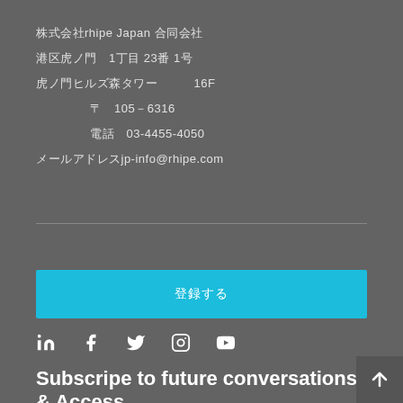株式会社rhipe Japan 合同会社
港区虎ノ門　1丁目 23番 1号
虎ノ門ヒルズ森タワー　　　16F
〒　105－6316
電話　03-4455-4050
メールアドレスjp-info@rhipe.com
[Figure (other): Cyan subscribe button with Japanese text]
[Figure (other): Social media icons: LinkedIn, Facebook, Twitter, Instagram, YouTube]
Subscripe to future conversations & Access